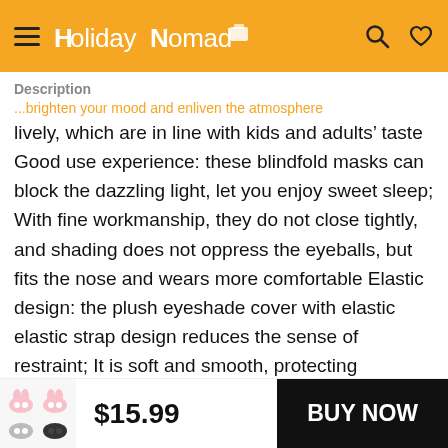HolidayNomad (logo header with hamburger menu, search, and heart icons)
Description
lively, which are in line with kids and adults' taste Good use experience: these blindfold masks can block the dazzling light, let you enjoy sweet sleep; With fine workmanship, they do not close tightly, and shading does not oppress the eyeballs, but fits the nose and wears more comfortable Elastic design: the plush eyeshade cover with elastic elastic strap design reduces the sense of restraint; It is soft and smooth, protecting sensitive hair, and will not move or fall when sleeping Wide applications: this plush eye mask is suitable for
$15.99
BUY NOW